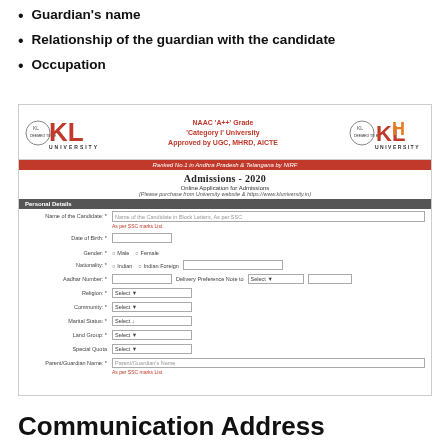Guardian's name
Relationship of the guardian with the candidate
Occupation
[Figure (screenshot): Screenshot of KL University online admissions form for 2020 showing personal details section with fields for candidate name, date of birth, gender, nationality, Aadhar number, religion, community, marital status, land group, special quota, and parent/guardian name.]
Communication Address